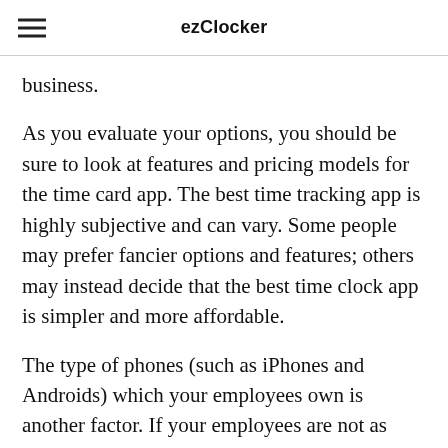ezClocker
business.
As you evaluate your options, you should be sure to look at features and pricing models for the time card app. The best time tracking app is highly subjective and can vary. Some people may prefer fancier options and features; others may instead decide that the best time clock app is simpler and more affordable.
The type of phones (such as iPhones and Androids) which your employees own is another factor. If your employees are not as tech-savvy, then it can take time for them to get on board with the right time